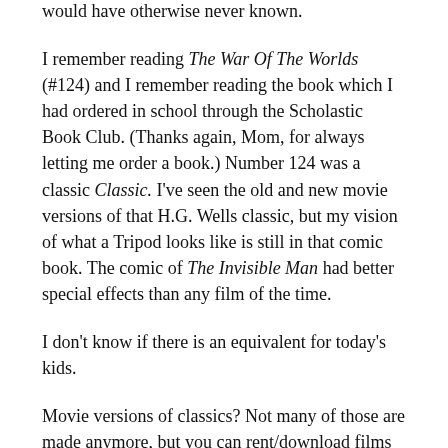would have otherwise never known.
I remember reading The War Of The Worlds (#124) and I remember reading the book which I had ordered in school through the Scholastic Book Club. (Thanks again, Mom, for always letting me order a book.)  Number 124 was a classic Classic. I've seen the old and new movie versions of that H.G. Wells classic, but my vision of what a Tripod looks like is still in that comic book. The comic of The Invisible Man had better special effects than any film of the time.
I don't know if there is an equivalent for today's kids.
Movie versions of classics? Not many of those are made anymore, but you can rent/download films of To Kill A Mockingbird, Great Expectations and